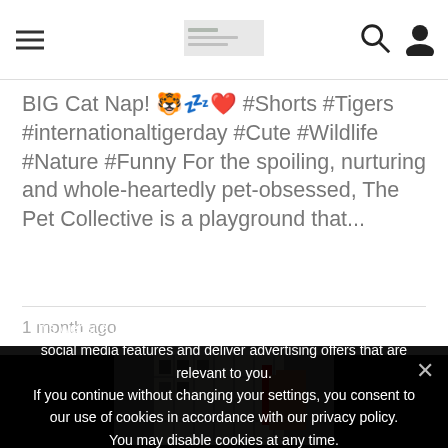≡  [logo]  🔍 👤
BIG Cat Nap! 🐯💤❤️ #Shorts #Tigers #internationaltigerday #Cute #Wildlife #Nature #Funny For the spoiling, nurturing and whole-heartedly pet-obsessed, The Pet Collective is a playground that...
1 month ago
[Figure (screenshot): Partial video thumbnail showing a grid/shelf structure with a hand, on dark/black background]
This website uses cookies to improve your experience, provide social media features and deliver advertising offers that are relevant to you.
If you continue without changing your settings, you consent to our use of cookies in accordance with our privacy policy.
You may disable cookies at any time.
Ok  No  Read more